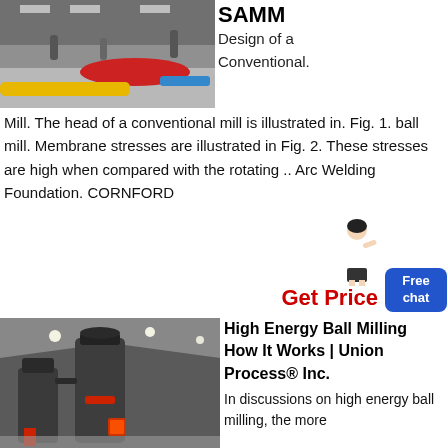[Figure (photo): Photo of colorful industrial or exhibition floor with red and yellow structures]
SAMM Design of a Conventional. Mill. The head of a conventional mill is illustrated in. Fig. 1. ball mill. Membrane stresses are illustrated in Fig. 2. These stresses are high when compared with the rotating .. Arc Welding Foundation. CORNFORD
Get Price
[Figure (photo): Photo of large dark industrial ball milling machines in a factory/warehouse setting]
High Energy Ball Milling How It Works | Union Process® Inc.
In discussions on high energy ball milling, the more